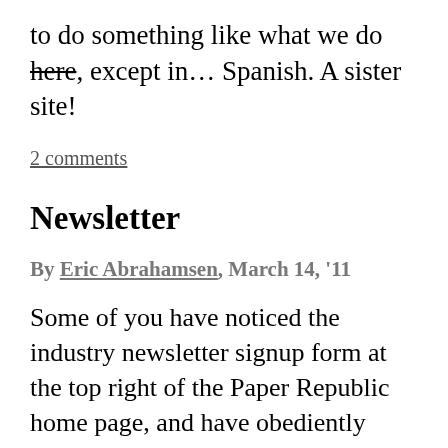to do something like what we do here, except in… Spanish. A sister site!
2 comments
Newsletter
By Eric Abrahamsen, March 14, '11
Some of you have noticed the industry newsletter signup form at the top right of the Paper Republic home page, and have obediently